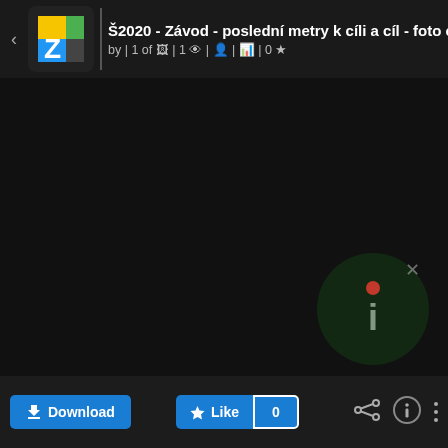Š2020 - Závod - poslední metry k cíli a cíl - foto od by | 1 of 🖼 | 1 👁 | 👤 | 📊 | 0 ★
[Figure (photo): Dark/black image area - photo content not visible, appears as dark background]
[Figure (other): Watermark circle with letter i in bottom right of main area]
Download | ★ Like 0 | Share | Info | More options